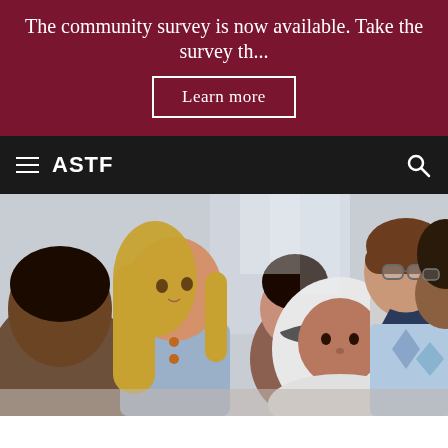The community survey is now available. Take the survey th...
Learn more
ASTF
[Figure (photo): Group of diverse elementary school children working together, looking down at a shared task. Includes a blonde girl, a girl in a white hijab, a boy with glasses, and other children.]